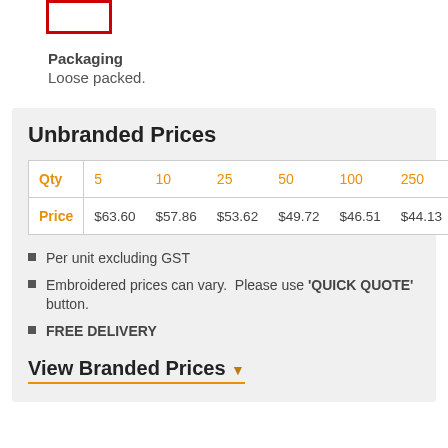[Figure (other): Red bordered box at top left (partial product image crop)]
Packaging
Loose packed.
| Qty | 5 | 10 | 25 | 50 | 100 | 250 |
| --- | --- | --- | --- | --- | --- | --- |
| Price | $63.60 | $57.86 | $53.62 | $49.72 | $46.51 | $44.13 |
Per unit excluding GST
Embroidered prices can vary. Please use 'QUICK QUOTE' button.
FREE DELIVERY
View Branded Prices